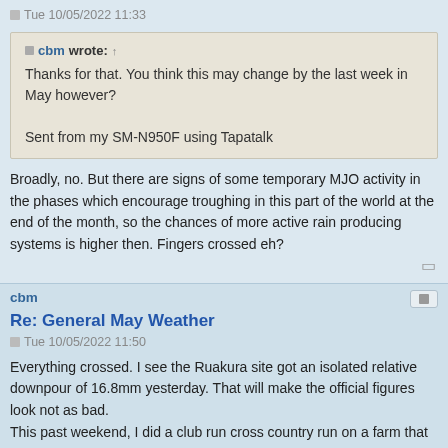Tue 10/05/2022 11:33
cbm wrote: ↑
Thanks for that. You think this may change by the last week in May however?

Sent from my SM-N950F using Tapatalk
Broadly, no. But there are signs of some temporary MJO activity in the phases which encourage troughing in this part of the world at the end of the month, so the chances of more active rain producing systems is higher then. Fingers crossed eh?
cbm
Re: General May Weather
Tue 10/05/2022 11:50
Everything crossed. I see the Ruakura site got an isolated relative downpour of 16.8mm yesterday. That will make the official figures look not as bad.
This past weekend, I did a club run cross country run on a farm that is very near where members of my immediate family farm, it was almost